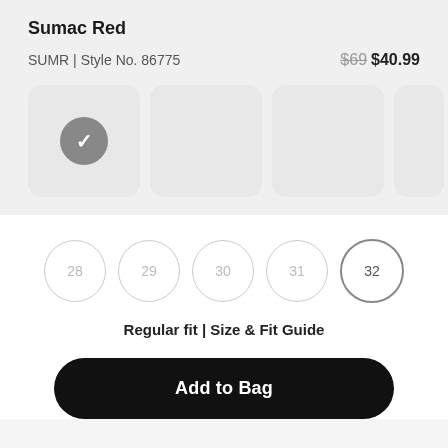Sumac Red
SUMR | Style No. 86775   $69 $40.99
[Figure (other): Four color swatch boxes in a horizontal row; the first box has a grey circle with a white checkmark indicating selection; the remaining three boxes are empty light grey rectangles; a partial fourth box is visible at the right edge.]
[Figure (other): Five circular size selector buttons labeled 28, 29, 30, 31, 32. Size 32 is highlighted with a darker grey border indicating selection.]
Regular fit | Size & Fit Guide
Add to Bag